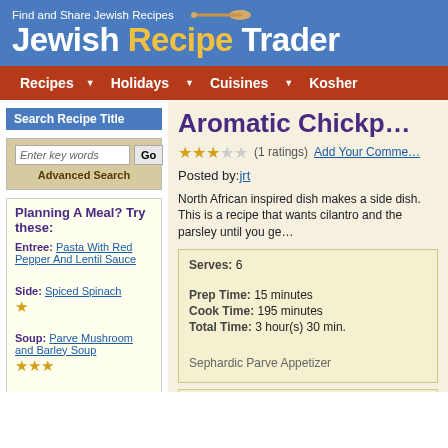Find and Share Jewish Recipes — Jewish Recipe Trader
Recipes | Holidays | Cuisines | Kosher
Search Recipe Title
Enter key words
Advanced Search
Planning A Meal? Try these:
Entree: Pasta With Red Pepper And Lentil Sauce
Side: Spiced Spinach ★
Soup: Parve Mushroom and Barley Soup ★★★
Salad: Fattoush
Aromatic Chickp...
★★★☆☆ (1 ratings) Add Your Comme...
Posted by: jrt
North African inspired dish makes a side dish. This is a recipe that wants cilantro and the parsley until you ge...
| Serves: | 6 |
| Prep Time: | 15 minutes |
| Cook Time: | 195 minutes |
| Total Time: | 3 hour(s) 30 min. |
Sephardic Parve Appetizer
Recipe Tools